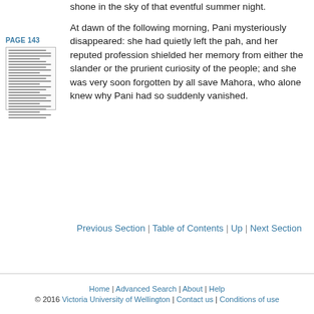shone in the sky of that eventful summer night.
[Figure (other): Thumbnail image of page 143 of a book, labeled PAGE 143]
At dawn of the following morning, Pani mysteriously disappeared: she had quietly left the pah, and her reputed profession shielded her memory from either the slander or the prurient curiosity of the people; and she was very soon forgotten by all save Mahora, who alone knew why Pani had so suddenly vanished.
Previous Section | Table of Contents | Up | Next Section
Home | Advanced Search | About | Help
© 2016 Victoria University of Wellington | Contact us | Conditions of use